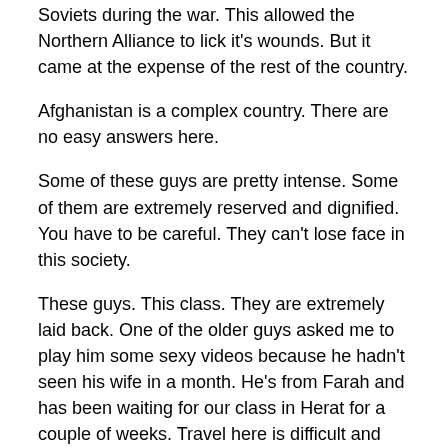Soviets during the war. This allowed the Northern Alliance to lick it's wounds. But it came at the expense of the rest of the country.
Afghanistan is a complex country. There are no easy answers here.
Some of these guys are pretty intense. Some of them are extremely reserved and dignified. You have to be careful. They can't lose face in this society.
These guys. This class. They are extremely laid back. One of the older guys asked me to play him some sexy videos because he hadn't seen his wife in a month. He's from Farah and has been waiting for our class in Herat for a couple of weeks. Travel here is difficult and time consuming. Earlier in the week, I had been playing my Ipod and they all wanted to listen to it. I promised them